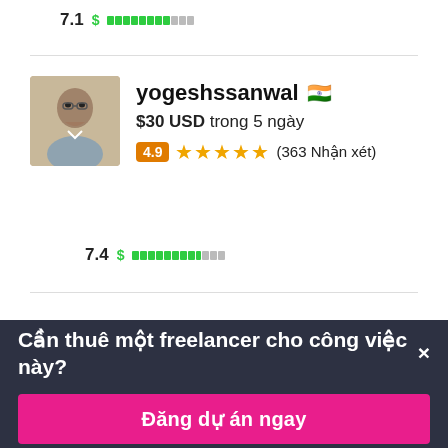7.1 $ [bar indicator]
[Figure (screenshot): Freelancer profile card for yogeshssanwal with Indian flag, $30 USD in 5 days, 4.9 rating badge, 5 stars, 363 reviews, 7.4 score bar]
yogeshssanwal
$30 USD trong 5 ngày
4.9 ★★★★★ (363 Nhận xét)
7.4 $ [bar indicator]
Cần thuê một freelancer cho công việc này? ×
Đăng dự án ngay